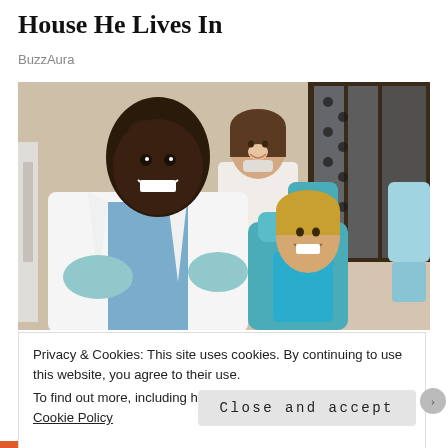House He Lives In
BuzzAura
[Figure (photo): A smiling male dentist in a white lab coat and blue shirt, with gloved hands, leaning toward a young smiling boy seated in a teal dental chair. A female dental assistant in a white coat with a pulled-down mask stands smiling in the background. The setting is a dental clinic.]
Privacy & Cookies: This site uses cookies. By continuing to use this website, you agree to their use.
To find out more, including how to control cookies, see here: Cookie Policy
Close and accept